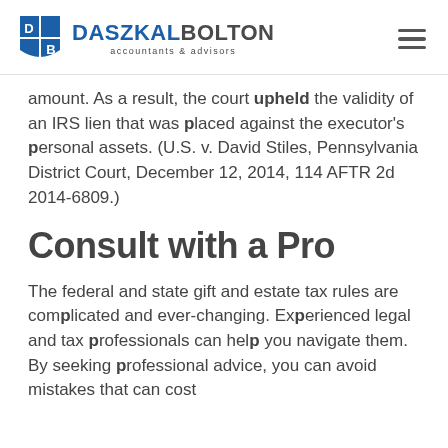Daszkal Bolton — accountants & advisors
amount. As a result, the court upheld the validity of an IRS lien that was placed against the executor's personal assets. (U.S. v. David Stiles, Pennsylvania District Court, December 12, 2014, 114 AFTR 2d 2014-6809.)
Consult with a Pro
The federal and state gift and estate tax rules are complicated and ever-changing. Experienced legal and tax professionals can help you navigate them. By seeking professional advice, you can avoid mistakes that can cost them.